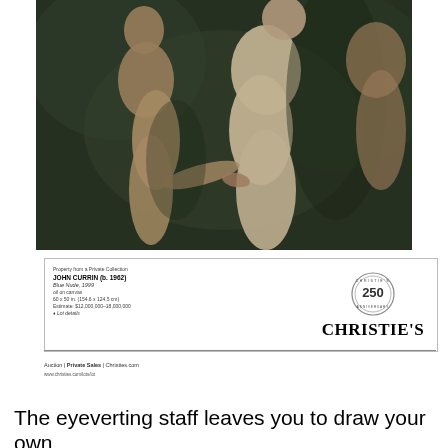[Figure (illustration): A classical-style oil painting of two nude female figures against a dark green background, appearing to be in the style of John Currin]
[Figure (other): Christie's auction house advertisement showing painting details: Property from a Private Collection, JOHN CURRIN (b. 1962), Blue Nude, 1999, oil on canvas, 60 x 50 in. (154.6 x 124.5 cm), Estimate: $12,000,000–18,000,000, with Christie's 250th Anniversary logo and branding. Auction | Private Sales | Christies.com]
The eyeverting staff leaves you to draw your own